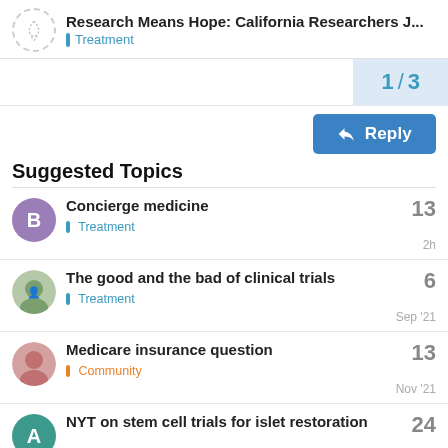Research Means Hope: California Researchers J... | Treatment
1 / 3
Reply
Suggested Topics
Concierge medicine | Treatment | 13 | 2h
The good and the bad of clinical trials | Treatment | 6 | Sep '21
Medicare insurance question | Community | 13 | Nov '21
NYT on stem cell trials for islet restoration | 24